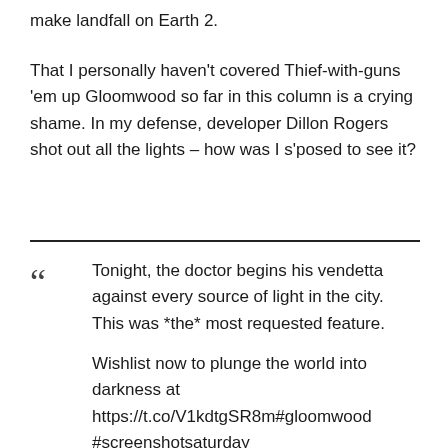make landfall on Earth 2.
That I personally haven't covered Thief-with-guns 'em up Gloomwood so far in this column is a crying shame. In my defense, developer Dillon Rogers shot out all the lights – how was I s'posed to see it?
Tonight, the doctor begins his vendetta against every source of light in the city. This was *the* most requested feature.

Wishlist now to plunge the world into darkness at https://t.co/V1kdtgSR8m#gloomwood #screenshotsaturday pic.twitter.com/rw5qcOKe7K